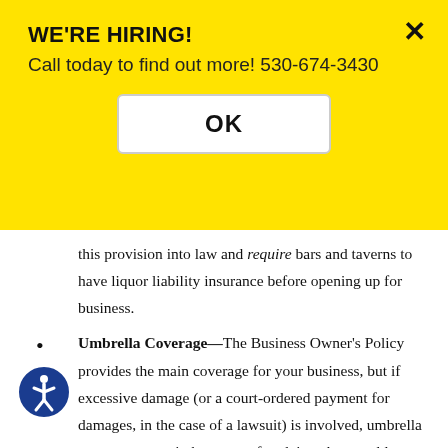WE'RE HIRING!
Call today to find out more! 530-674-3430
OK
this provision into law and require bars and taverns to have liquor liability insurance before opening up for business.
Umbrella Coverage—The Business Owner's Policy provides the main coverage for your business, but if excessive damage (or a court-ordered payment for damages, in the case of a lawsuit) is involved, umbrella coverage can reimburse you for claims that would normally be